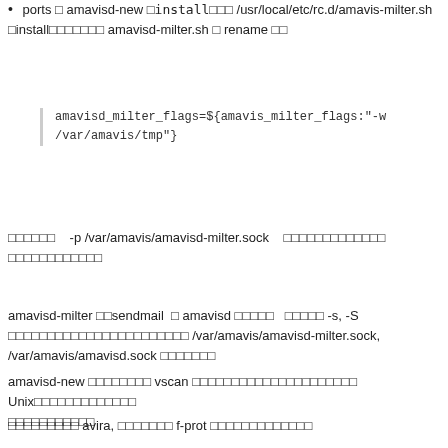ports □ amavisd-new □install□□□ /usr/local/etc/rc.d/amavis-milter.sh □install□□□□□□□ amavisd-milter.sh □ rename □□
amavisd_milter_flags=${amavis_milter_flags:"-w /var/amavis/tmp"}
□□□□□□ -p /var/amavis/amavisd-milter.sock □□□□□□□□□□□□□ □□□□□□□□□□□□
amavisd-milter □□sendmail □ amavisd □□□□□ □□□□□ -s, -S □□□□□□□□□□□□□□□□□□□□□□□ /var/amavis/amavisd-milter.sock, /var/amavis/amavisd.sock □□□□□□□
amavisd-new □□□□□□□□ vscan □□□□□□□□□□□□□□□□□□□□□ Unix□□□□□□□□□□□□□ □□□□□□□□□□□
□□□□□□□□□ avira, □□□□□□□ f-prot □□□□□□□□□□□□□
/usr/log/maillog □□□□